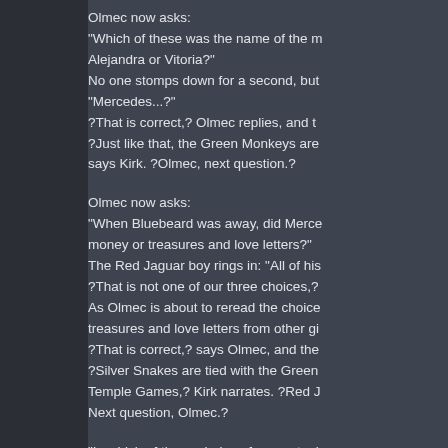Olmec now asks: "Which of these was the name of the m Alejandra or Vitoria?" No one stomps down for a second, but "Mercedes...?" ?That is correct,? Olmec replies, and t ?Just like that, the Green Monkeys are says Kirk. ?Olmec, next question.?
Olmec now asks: "When Bluebeard was away, did Merce money or treasures and love letters?" The Red Jaguar boy rings in: "All of his ?That is not one of our three choices,? As Olmec is about to reread the choice treasures and love letters from other gi ?That is correct,? says Olmec, and the ?Silver Snakes are tied with the Green Temple Games,? Kirk narrates. ?Red J Next question, Olmec.?
"In which of these chains of seaports d Spanish Main or the British Main?" After a second, the Green Monkey girl ?That is correct!? Olmec shouts,